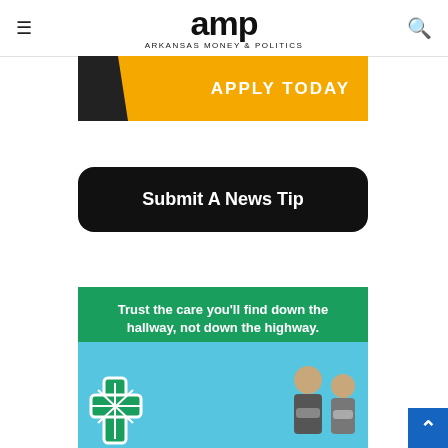amp — Arkansas Money & Politics
[Figure (illustration): Yellow banner advertisement with dark diagonal stripe on left and 'APPLY TODAY' text in white bold uppercase letters]
[Figure (other): Black rounded-rectangle button with white text 'Submit A News Tip']
[Figure (illustration): Green healthcare advertisement banner with text 'Trust the care you'll find down the hallway, not down the highway.' with white medical cross icon and people in masks in a blue lower section]